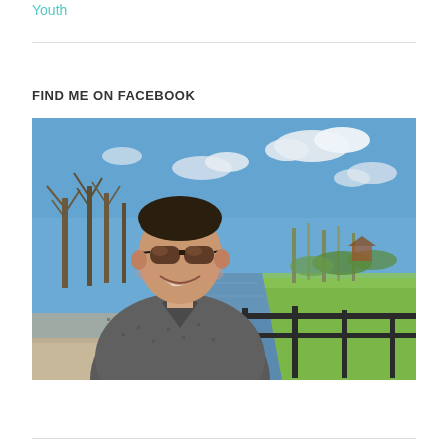Youth
FIND ME ON FACEBOOK
[Figure (photo): A man wearing sunglasses and a patterned short-sleeve shirt, smiling, standing in front of a canal or river with metal railings. Bare trees and a blue sky with clouds are visible in the background. Green grass is on the right bank.]